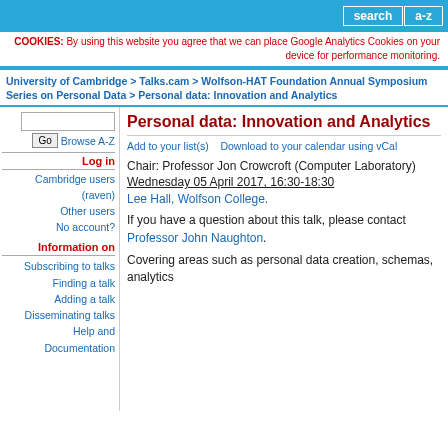search   a-z
COOKIES: By using this website you agree that we can place Google Analytics Cookies on your device for performance monitoring.
University of Cambridge > Talks.cam > Wolfson-HAT Foundation Annual Symposium Series on Personal Data > Personal data: Innovation and Analytics
Go   Browse A-Z
Log in
Cambridge users (raven)
Other users
No account?
Information on
Subscribing to talks
Finding a talk
Adding a talk
Disseminating talks
Help and Documentation
Personal data: Innovation and Analytics
Add to your list(s)    Download to your calendar using vCal
Chair: Professor Jon Crowcroft (Computer Laboratory)
Wednesday 05 April 2017, 16:30-18:30
Lee Hall, Wolfson College.
If you have a question about this talk, please contact Professor John Naughton.
Covering areas such as personal data creation, schemas, analytics